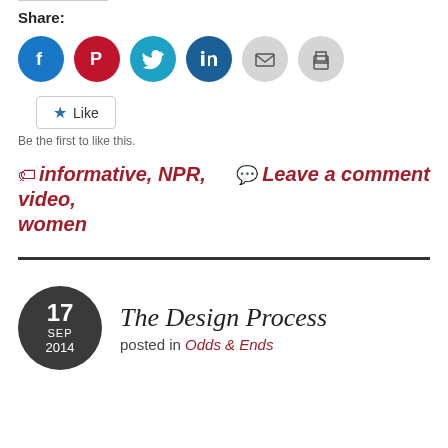Share:
[Figure (infographic): Social sharing icons: Facebook (blue circle), Pinterest (red circle), Twitter (light blue circle), LinkedIn (dark blue circle), Email (grey circle), Print (grey circle)]
Like
Be the first to like this.
informative, NPR, video, women
Leave a comment
[Figure (infographic): Dark grey circle date badge showing 17 SEP 2014]
The Design Process
posted in Odds & Ends